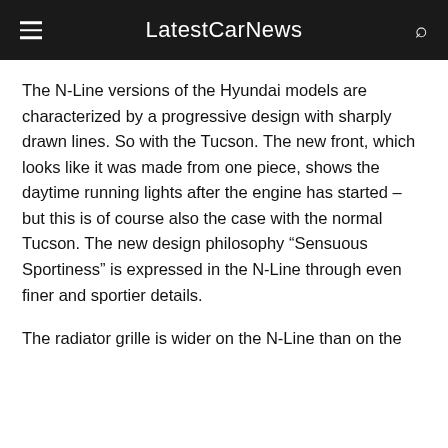LatestCarNews
The N-Line versions of the Hyundai models are characterized by a progressive design with sharply drawn lines. So with the Tucson. The new front, which looks like it was made from one piece, shows the daytime running lights after the engine has started – but this is of course also the case with the normal Tucson. The new design philosophy “Sensuous Sportiness” is expressed in the N-Line through even finer and sportier details.
The radiator grille is wider on the N-Line than on the